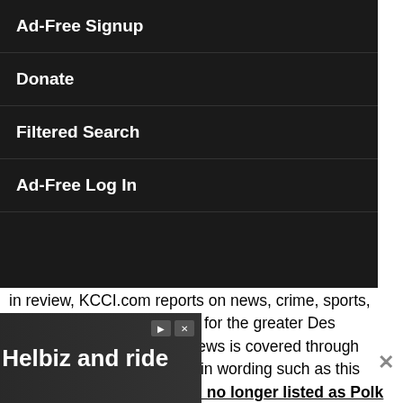Ad-Free Signup
Donate
Filtered Search
Ad-Free Log In
in review, KCCI.com reports on news, crime, sports, weather, and entertainment for the greater Des Moines, Iowa area. Local news is covered through reporters with minimal bias in wording such as this Developing: Doug Jensen no longer listed as Polk County Jail inmate. A video accompanies most stories from the TV station. CNN, Associated Press, and other Hearst affiliates typically cover the national news.

Editorially, KCCI.com has a section dedicated to editorials that are not overtly biased. They also report on
[Figure (screenshot): Advertisement banner: Download Helbiz and ride, with a dark background showing a person with a camera]